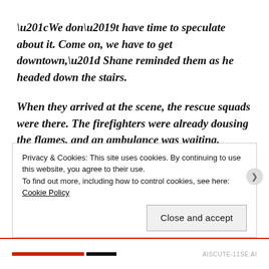“We don’t have time to speculate about it. Come on, we have to get downtown,” Shane reminded them as he headed down the stairs.
When they arrived at the scene, the rescue squads were there. The firefighters were already dousing the flames, and an ambulance was waiting.
“What is going on?” Shane asked one of the rescue workers. “I am Shane O’Grady, one of the owners. I was
Privacy & Cookies: This site uses cookies. By continuing to use this website, you agree to their use.
To find out more, including how to control cookies, see here:
Cookie Policy
Close and accept